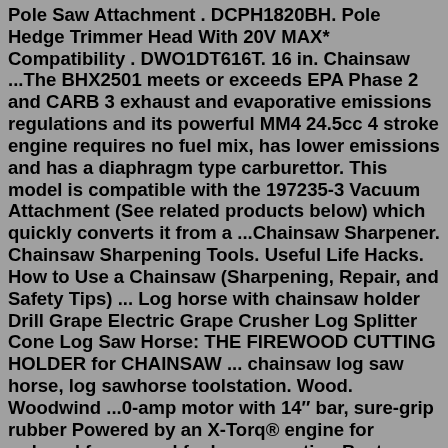Pole Saw Attachment . DCPH1820BH. Pole Hedge Trimmer Head With 20V MAX* Compatibility . DWO1DT616T. 16 in. Chainsaw ...The BHX2501 meets or exceeds EPA Phase 2 and CARB 3 exhaust and evaporative emissions regulations and its powerful MM4 24.5cc 4 stroke engine requires no fuel mix, has lower emissions and has a diaphragm type carburettor. This model is compatible with the 197235-3 Vacuum Attachment (See related products below) which quickly converts it from a ...Chainsaw Sharpener. Chainsaw Sharpening Tools. Useful Life Hacks. How to Use a Chainsaw (Sharpening, Repair, and Safety Tips) ... Log horse with chainsaw holder Drill Grape Electric Grape Crusher Log Splitter Cone Log Saw Horse: THE FIREWOOD CUTTING HOLDER for CHAINSAW ... chainsaw log saw horse, log sawhorse toolstation. Wood. Woodwind ...0-amp motor with 14″ bar, sure-grip rubber Powered by an X-Torq® engine for reduced fumes and fuel consumption Best Corded Electric Chainsaw Review Of 5 Strong Lightweight Saws 2 x ALDI Gardenline